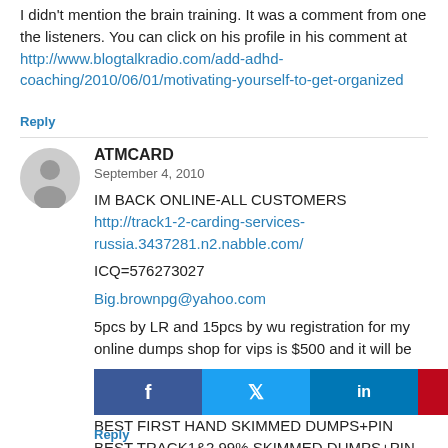I didn't mention the brain training. It was a comment from one the listeners. You can click on his profile in his comment at http://www.blogtalkradio.com/add-adhd-coaching/2010/06/01/motivating-yourself-to-get-organized
Reply
ATMCARD
September 4, 2010
IM BACK ONLINE-ALL CUSTOMERS
http://track1-2-carding-services-russia.3437281.n2.nabble.com/
ICQ=576273027
Big.brownpg@yahoo.com
5pcs by LR and 15pcs by wu registration for my online dumps shop for vips is $500 and it will be
updated in balance.
read my rules on my site.
BEST FIRST HAND SKIMMED DUMPS+PIN
BEST TRACK1&2 99% SKIMMED DUMPS+PIN 101-201-126-501-706-402-422-401
ETC.
Reply